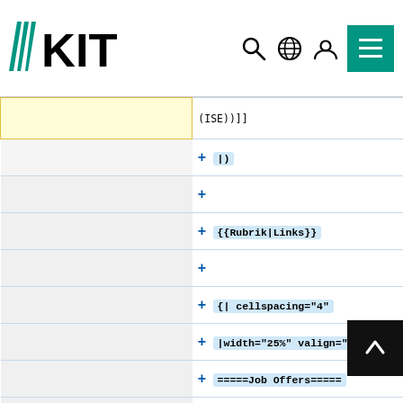KIT website header with logo and navigation icons
| left | right |
| --- | --- |
| (yellow box) | (ISE))]] |
|  | |) |
| (gray) | + |
| (gray) | {{Rubrik|Links}} |
| (gray) | + |
| (gray) | {| cellspacing="4" |
| (gray) | |width="25%" valign="top"| |
| (gray) | =====Job Offers===== |
| (gray) | <ul> |
| (gray) | [https://aifb.kit.edu/web/Stellenausschreibung154 PostDoc / Senior Researcher (m/f/d) - Knowledge Graphs]</li> |
| |) | |) |